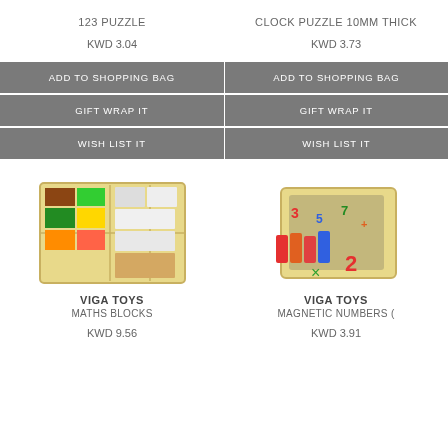123 PUZZLE
CLOCK PUZZLE 10MM THICK
KWD 3.04
KWD 3.73
ADD TO SHOPPING BAG
ADD TO SHOPPING BAG
GIFT WRAP IT
GIFT WRAP IT
WISH LIST IT
WISH LIST IT
[Figure (photo): Wooden maths blocks tray with colorful rectangular tiles]
[Figure (photo): Box of magnetic number pieces with colorful digits]
VIGA TOYS
MATHS BLOCKS
KWD 9.56
VIGA TOYS
MAGNETIC NUMBERS (
KWD 3.91